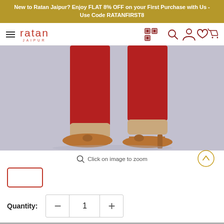New to Ratan Jaipur? Enjoy FLAT 8% OFF on your First Purchase with Us - Use Code RATANFIRST8
[Figure (logo): Ratan Jaipur logo with hamburger menu and navigation icons]
[Figure (photo): Close-up of a woman's legs wearing red trousers and tan leather kitten-heel slingback shoes on a grey background]
Click on image to zoom
[Figure (other): Color swatch selector showing a selected tan/brown color option with red border]
Quantity: 1
Sold out